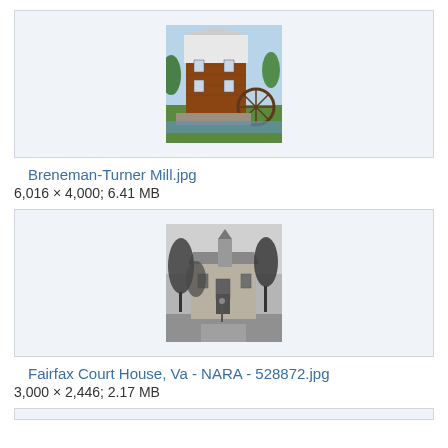[Figure (photo): Color photograph of Breneman-Turner Mill, a brick building with white roof and water wheel, surrounded by green landscape]
Breneman-Turner Mill.jpg
6,016 × 4,000; 6.41 MB
[Figure (photo): Black and white historical photograph of Fairfax Court House, Virginia, showing a building with trees in foreground]
Fairfax Court House, Va - NARA - 528872.jpg
3,000 × 2,446; 2.17 MB